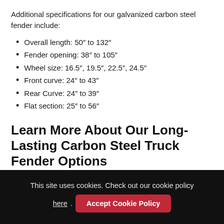Additional specifications for our galvanized carbon steel fender include:
Overall length: 50” to 132”
Fender opening: 38” to 105”
Wheel size: 16.5”, 19.5”, 22.5”, 24.5”
Front curve: 24” to 43”
Rear Curve: 24” to 39”
Flat section: 25” to 56”
Learn More About Our Long-Lasting Carbon Steel Truck Fender Options
This site uses cookies. Check out our cookie policy here. Accept Cookie Policy